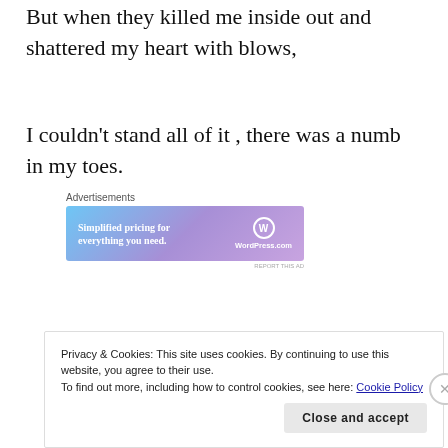But when they killed me inside out and shattered my heart with blows,
I couldn't stand all of it , there was a numb in my toes.
[Figure (other): WordPress.com advertisement banner with gradient blue-purple background, text 'Simplified pricing for everything you need.' and WordPress.com logo]
Privacy & Cookies: This site uses cookies. By continuing to use this website, you agree to their use.
To find out more, including how to control cookies, see here: Cookie Policy